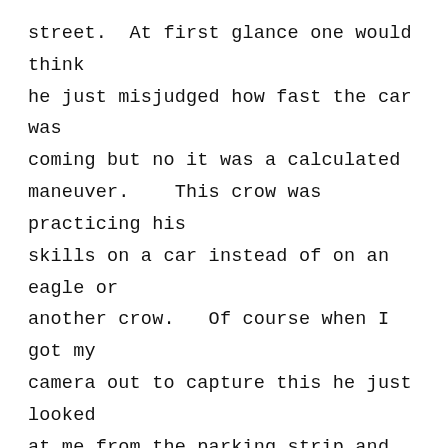street.  At first glance one would think he just misjudged how fast the car was coming but no it was a calculated maneuver.   This crow was practicing his skills on a car instead of on an eagle or another crow.   Of course when I got my camera out to capture this he just looked at me from the parking strip and laughed at me.
At the beach today, up on the bluff where the down/up drafts must be great for this type of flying maneuver, a crow did a fake death spiral.  At first one thinks he is